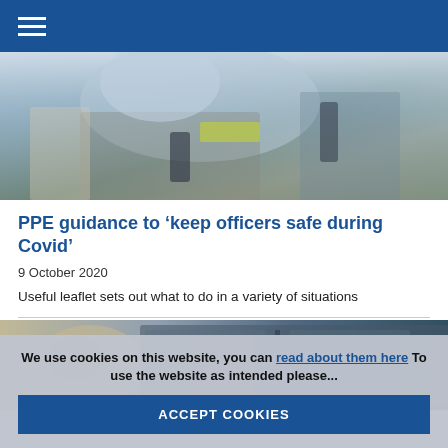Navigation menu
[Figure (photo): Police officers wearing face masks and PPE equipment including body cameras and high-visibility vests]
PPE guidance to ‘keep officers safe during Covid’
9 October 2020
Useful leaflet sets out what to do in a variety of situations
[Figure (photo): Close-up of a person with grey hair wearing sunglasses, with a building in the background]
We use cookies on this website, you can read about them here To use the website as intended please...
ACCEPT COOKIES